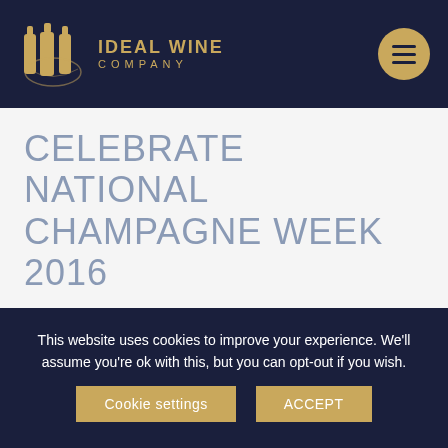Ideal Wine Company
CELEBRATE NATIONAL CHAMPAGNE WEEK 2016
We have officially entered National Champagne Week 2016. Running from 1st to 7th October, this unique event gives you a chance to celebrate your love for France's signature sparkling wine!
This website uses cookies to improve your experience. We'll assume you're ok with this, but you can opt-out if you wish.